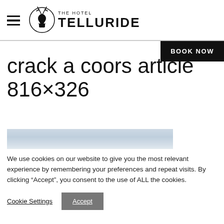THE HOTEL TELLURIDE
BOOK NOW
crack a coors article 816×326
[Figure (photo): Light blue/grey sky and landscape image strip]
We use cookies on our website to give you the most relevant experience by remembering your preferences and repeat visits. By clicking “Accept”, you consent to the use of ALL the cookies.
Cookie Settings  Accept